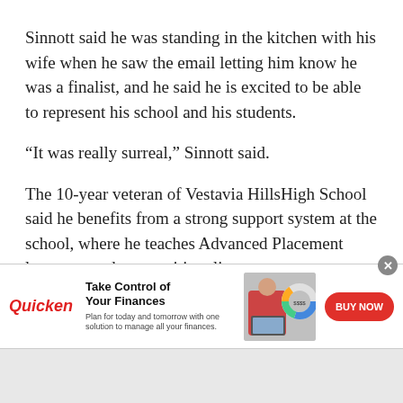Sinnott said he was standing in the kitchen with his wife when he saw the email letting him know he was a finalist, and he said he is excited to be able to represent his school and his students.
“It was really surreal,” Sinnott said.
The 10-year veteran of Vestavia HillsHigh School said he benefits from a strong support system at the school, where he teaches Advanced Placement language and composition, literature courses, creative writing and public speaking. He also sponsors several communication-heavy extracurricular groups such as Youth in Government and the mock trial team.
[Figure (infographic): Quicken advertisement banner: Take Control of Your Finances. Plan for today and tomorrow with one solution to manage all your finances. BUY NOW button. Shows a woman working on a laptop with a colorful donut chart graphic.]